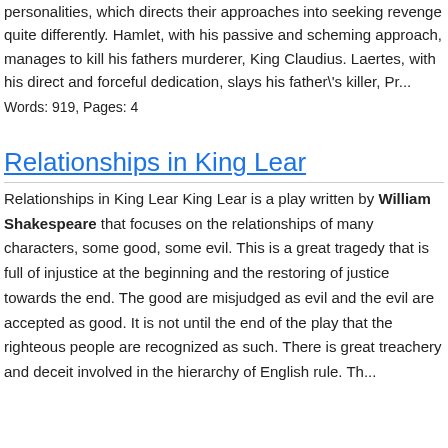personalities, which directs their approaches into seeking revenge quite differently. Hamlet, with his passive and scheming approach, manages to kill his fathers murderer, King Claudius. Laertes, with his direct and forceful dedication, slays his father's killer, Pr...
Words: 919, Pages: 4
Relationships in King Lear
Relationships in King Lear King Lear is a play written by William Shakespeare that focuses on the relationships of many characters, some good, some evil. This is a great tragedy that is full of injustice at the beginning and the restoring of justice towards the end. The good are misjudged as evil and the evil are accepted as good. It is not until the end of the play that the righteous people are recognized as such. There is great treachery and deceit involved in the hierarchy of English rule. Th...